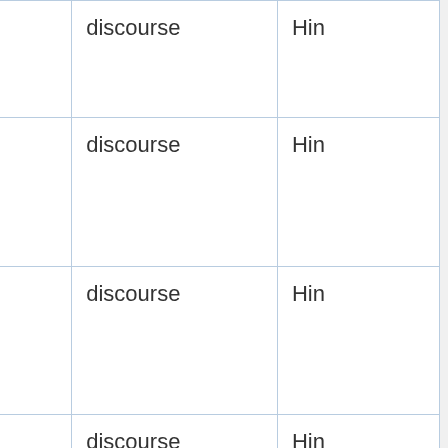| Date | Location | Type | Language |
| --- | --- | --- | --- |
| Sep 1969 pm | Srinagar, meditation camp | discourse | Hindi |
| 20 Sep 1969 am | Srinagar, meditation camp | discourse | Hindi |
| 20 Sep 1969 pm | Srinagar, meditation camp | discourse | Hindi |
| 21 Sep 1969 am | Srinagar, meditation camp | discourse | Hindi |
| 21 Sep 1969 pm | Srinagar, meditation camp | discourse | Hindi |